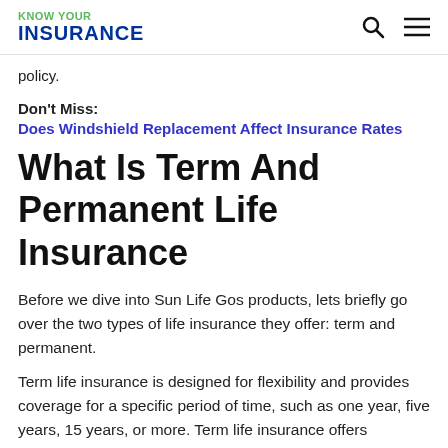KNOW YOUR INSURANCE
policy.
Don't Miss:
Does Windshield Replacement Affect Insurance Rates
What Is Term And Permanent Life Insurance
Before we dive into Sun Life Gos products, lets briefly go over the two types of life insurance they offer: term and permanent.
Term life insurance is designed for flexibility and provides coverage for a specific period of time, such as one year, five years, 15 years, or more. Term life insurance offers